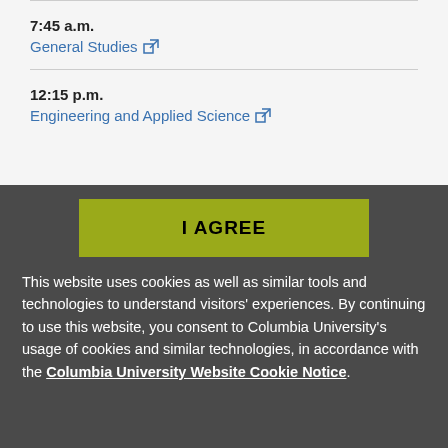7:45 a.m. General Studies
12:15 p.m. Engineering and Applied Science
I AGREE
This website uses cookies as well as similar tools and technologies to understand visitors' experiences. By continuing to use this website, you consent to Columbia University's usage of cookies and similar technologies, in accordance with the Columbia University Website Cookie Notice.